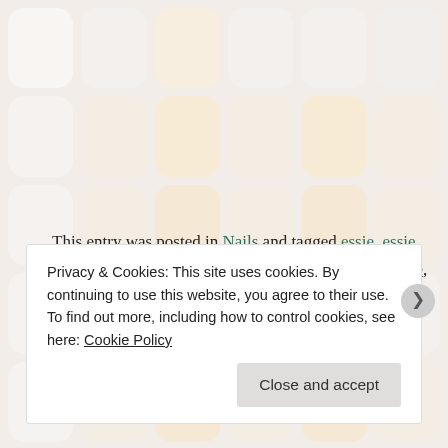[Figure (illustration): Background grid of rounded-rectangle nail polish color swatches in various pastel and neutral tones (white, cream, tan, peach, orange)]
This entry was posted in Nails and tagged essie, essie tart deco, gals stamp, manicure, nail art, nail challenge, nail challenge collaborative, nail stamping, nails, zoya, zoya charisma on July 9, 2014.
Privacy & Cookies: This site uses cookies. By continuing to use this website, you agree to their use.
To find out more, including how to control cookies, see here: Cookie Policy
[Close and accept]